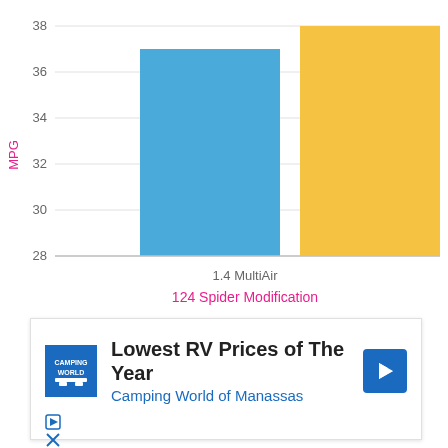[Figure (bar-chart): 124 Spider Modification]
[Figure (infographic): Advertisement: Camping World - Lowest RV Prices of The Year, Camping World of Manassas, with logo and navigation arrow icon]